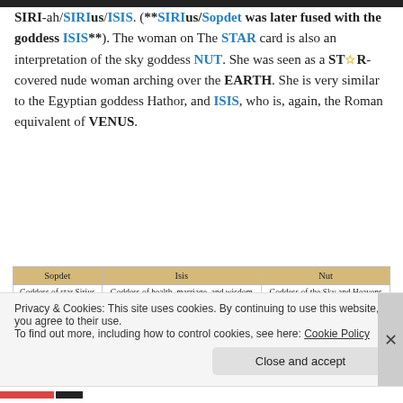SIRI-ah/SIRIus/ISIS. (**SIRIus/Sopdet was later fused with the goddess ISIS**). The woman on The STAR card is also an interpretation of the sky goddess NUT. She was seen as a ST★R-covered nude woman arching over the EARTH. She is very similar to the Egyptian goddess Hathor, and ISIS, who is, again, the Roman equivalent of VENUS.
| Sopdet | Isis | Nut |
| --- | --- | --- |
| Goddess of star Sirius | Goddess of health, marriage, and wisdom | Goddess of the Sky and Heavens |
[Figure (illustration): Three Egyptian goddess figures: Sopdet (with star headdress), Isis (with throne headdress), and Nut (with flat headdress), shown as profile silhouettes in dark blue with colorful headdresses.]
Privacy & Cookies: This site uses cookies. By continuing to use this website, you agree to their use.
To find out more, including how to control cookies, see here: Cookie Policy